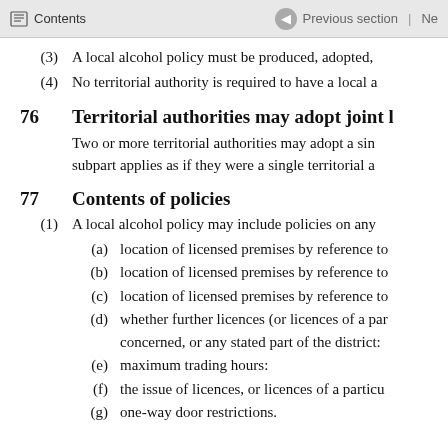Contents | Previous section | Ne
(3) A local alcohol policy must be produced, adopted,
(4) No territorial authority is required to have a local a
76 Territorial authorities may adopt joint l
Two or more territorial authorities may adopt a sin subpart applies as if they were a single territorial a
77 Contents of policies
(1) A local alcohol policy may include policies on any
(a) location of licensed premises by reference to
(b) location of licensed premises by reference to
(c) location of licensed premises by reference to
(d) whether further licences (or licences of a par concerned, or any stated part of the district:
(e) maximum trading hours:
(f) the issue of licences, or licences of a particu
(g) one-way door restrictions.